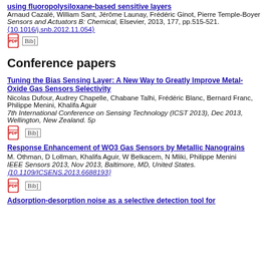using fluoropolysiloxane-based sensitive layers
Arnaud Cazalé, William Sant, Jérôme Launay, Frédéric Ginot, Pierre Temple-Boyer
Sensors and Actuators B: Chemical, Elsevier, 2013, 177, pp.515-521. (10.1016/j.snb.2012.11.054)
Conference papers
Tuning the Bias Sensing Layer: A New Way to Greatly Improve Metal-Oxide Gas Sensors Selectivity
Nicolas Dufour, Audrey Chapelle, Chabane Talhi, Frédéric Blanc, Bernard Franc, Philippe Menini, Khalifa Aguir
7th International Conference on Sensing Technology (ICST 2013), Dec 2013, Wellington, New Zealand. 5p
Response Enhancement of WO3 Gas Sensors by Metallic Nanograins
M. Othman, D Lollman, Khalifa Aguir, W Belkacem, N Mliki, Philippe Menini
IEEE Sensors 2013, Nov 2013, Baltimore, MD, United States. (10.1109/ICSENS.2013.6688193)
Adsorption-desorption noise as a selective detection tool for